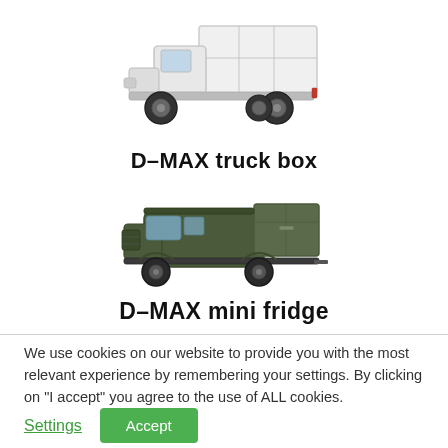[Figure (illustration): White D-MAX truck with box body/van body attachment, side view on white background]
D–MAX truck box
[Figure (illustration): Dark olive/green D-MAX pickup truck with mini fridge box on the rear, three-quarter front view on white background]
D–MAX mini fridge
We use cookies on our website to provide you with the most relevant experience by remembering your settings. By clicking on "I accept" you agree to the use of ALL cookies.
Settings
Accept